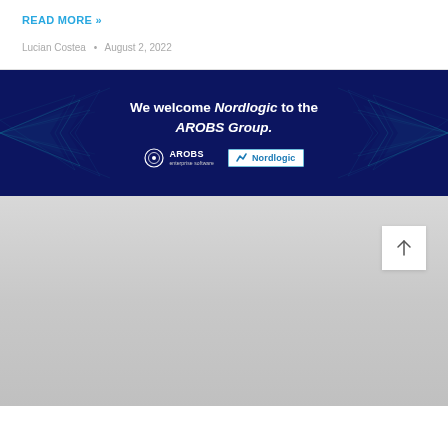READ MORE »
Lucian Costea  •  August 2, 2022
[Figure (illustration): Dark navy blue banner with decorative teal geometric light burst patterns on left and right sides. Centered text reads: We welcome Nordlogic to the AROBS Group. Below text are the AROBS logo and Nordlogic logo side by side.]
[Figure (other): Light gray gradient footer area with a white square back-to-top button containing an upward arrow, positioned at bottom right.]